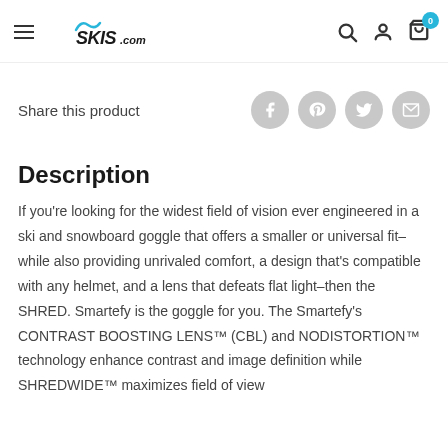SKIS.com
Share this product
Description
If you're looking for the widest field of vision ever engineered in a ski and snowboard goggle that offers a smaller or universal fit–while also providing unrivaled comfort, a design that's compatible with any helmet, and a lens that defeats flat light–then the SHRED. Smartefy is the goggle for you. The Smartefy's CONTRAST BOOSTING LENS™ (CBL) and NODISTORTION™ technology enhance contrast and image definition while SHREDWIDE™ maximizes field of view